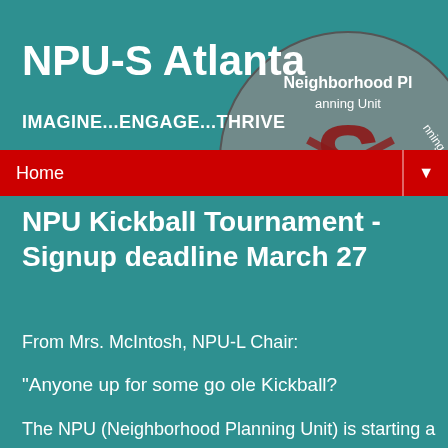[Figure (logo): NPU Neighborhood Planning Unit circular logo with red S emblem on grey background]
NPU-S Atlanta
IMAGINE...ENGAGE...THRIVE
Home ▼
NPU Kickball Tournament - Signup deadline March 27
From Mrs. McIntosh, NPU-L Chair:
"Anyone up for some go ole Kickball?
The NPU (Neighborhood Planning Unit) is starting a Kickball League. There's no strict qualifications or stipulations to participate. If you wish to play and live in a particular NPU, then sign-up. The deadline to sign-up is Friday, March 27th. If you are unaware of what NPU you reside in please click